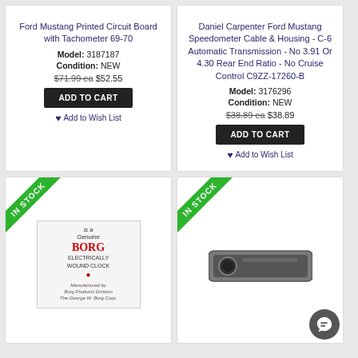Ford Mustang Printed Circuit Board with Tachometer 69-70 Model: 3187187 Condition: NEW $71.99 ea $52.55
Daniel Carpenter Ford Mustang Speedometer Cable & Housing - C-6 Automatic Transmission - No 3.91 Or 4.30 Rear End Ratio - No Cruise Control C9ZZ-17260-B Model: 3176296 Condition: NEW $38.89 ea $38.89
[Figure (photo): Borg Genuine Electrically Wound Clock product image with IN STOCK banner]
[Figure (photo): Metal bezel/trim product image with IN STOCK banner and chat support button]